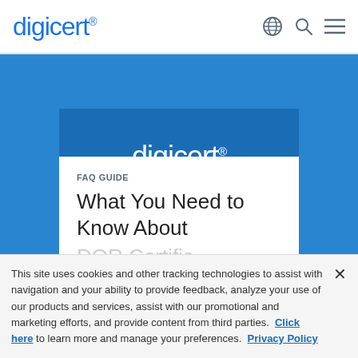digicert®
[Figure (logo): DigiCert logo in white card with blue background hero section, FAQ GUIDE label, and partial title 'What You Need to Know About...']
FAQ GUIDE
What You Need to Know About
This site uses cookies and other tracking technologies to assist with navigation and your ability to provide feedback, analyze your use of our products and services, assist with our promotional and marketing efforts, and provide content from third parties.  Click here to learn more and manage your preferences.  Privacy Policy